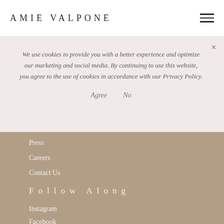AMIE VALPONE
We use cookies to provide you with a better experience and optimize our marketing and social media. By continuing to use this website, you agree to the use of cookies in accordance with our Privacy Policy.
Agree   No
Press
Careers
Contact Us
Follow Along
Instagram
Facebook
Pinterest
Twitter
Spotify